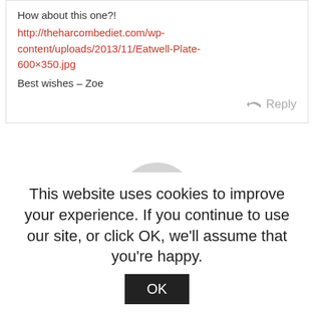How about this one?!
http://theharcombediet.com/wp-content/uploads/2013/11/Eatwell-Plate-600×350.jpg
Best wishes – Zoe
Reply
[Figure (illustration): Generic user avatar: grey circle with white silhouette of a person]
Hugh Mannity
March 19, 2016 at 2:12 am
Now that's a plate that I could do some...
This website uses cookies to improve your experience. If you continue to use our site, or click OK, we'll assume that you're happy.